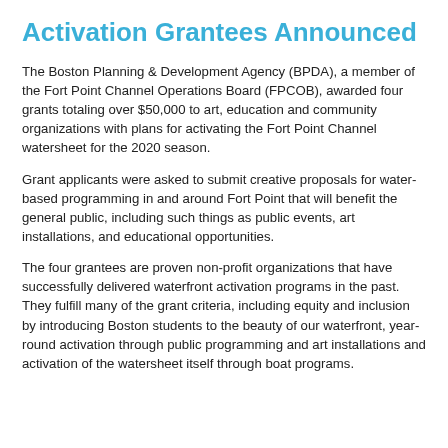Activation Grantees Announced
The Boston Planning & Development Agency (BPDA), a member of the Fort Point Channel Operations Board (FPCOB), awarded four grants totaling over $50,000 to art, education and community organizations with plans for activating the Fort Point Channel watersheet for the 2020 season.
Grant applicants were asked to submit creative proposals for water-based programming in and around Fort Point that will benefit the general public, including such things as public events, art installations, and educational opportunities.
The four grantees are proven non-profit organizations that have successfully delivered waterfront activation programs in the past. They fulfill many of the grant criteria, including equity and inclusion by introducing Boston students to the beauty of our waterfront, year-round activation through public programming and art installations and activation of the watersheet itself through boat programs.